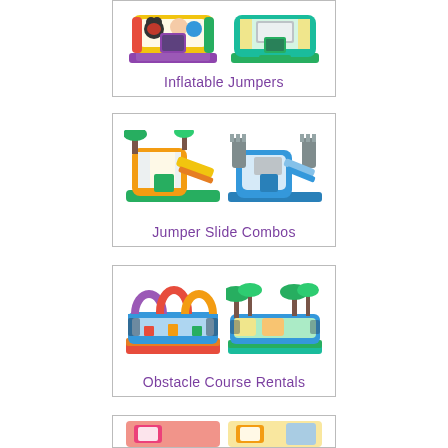[Figure (photo): Two inflatable jumpers: Mickey Mouse themed purple/yellow bounce house on left, green/beige tropical theme bounce house on right. Card is cropped at top.]
Inflatable Jumpers
[Figure (photo): Two inflatable jumper slide combos: tropical palm tree yellow/green combo on left, blue/grey castle-themed slide combo on right.]
Jumper Slide Combos
[Figure (photo): Two inflatable obstacle course rentals: colorful arch obstacle course on left, tropical palm tree themed obstacle course on right.]
Obstacle Course Rentals
[Figure (photo): Partial view of another inflatable rental card at the bottom of the page, showing two inflatables partially visible.]